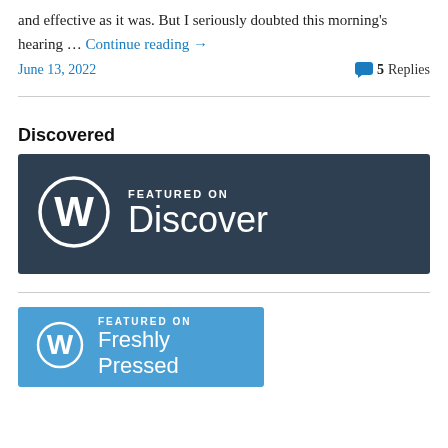and effective as it was. But I seriously doubted this morning's hearing … Continue reading →
June 13, 2022   💬 5 Replies
Discovered
[Figure (logo): WordPress 'Featured on Discover' dark blue banner with WordPress logo and text 'FEATURED ON Discover']
[Figure (logo): WordPress 'Featured on Freshly Pressed' blue banner with WordPress logo and text 'FEATURED ON Freshly Pressed']